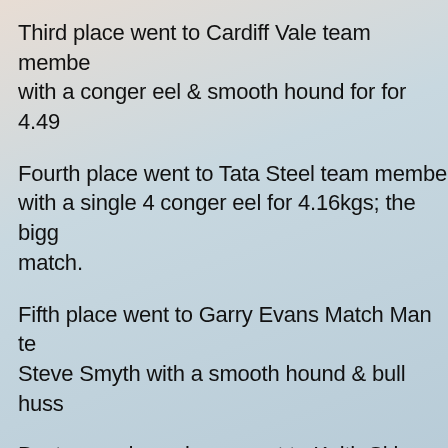Third place went to Cardiff Vale team member with a conger eel & smooth hound for for 4.49
Fourth place went to Tata Steel team member with a single 4 conger eel for 4.16kgs; the biggest fish of the match.
Fifth place went to Garry Evans Match Man team Steve Smyth with a smooth hound & bull huss
Best named specimen went to Keith Skipper from Baits2go with a rockling of 0.48kgs.
Overall top five individuals after five legs are: 1st Chris Jenkins with 445 fish points. 2nd Adam Farmer with 442 fish points.